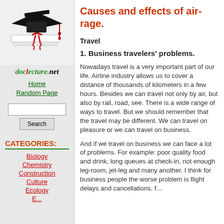[Figure (illustration): Graduation cap on a stack of books with red ribbon, site logo image]
doclecture.net
Home
Random Page
CATEGORIES:
Biology
Chemistry
Construction
Culture
Ecology
Causes and effects of air-rage.
Travel
1. Business travelers' problems.
Nowadays travel is a very important part of our life. Airline industry allows us to cover a distance of thousands of kilometers in a few hours. Besides we can travel not only by air, but also by rail, road, see. There is a wide range of ways to travel. But we should remember that the travel may be different. We can travel on pleasure or we can travel on business.
And if we travel on business we can face a lot of problems. For example: poor quality food and drink, long queues at check-in, not enough leg-room, jet-leg and many another. I think for business people the worse problem is flight delays and cancellations. f...